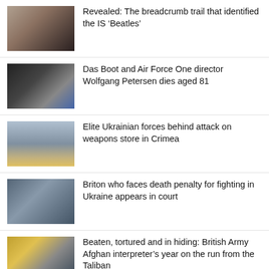Revealed: The breadcrumb trail that identified the IS ‘Beatles’
Das Boot and Air Force One director Wolfgang Petersen dies aged 81
Elite Ukrainian forces behind attack on weapons store in Crimea
Briton who faces death penalty for fighting in Ukraine appears in court
Beaten, tortured and in hiding: British Army Afghan interpreter’s year on the run from the Taliban